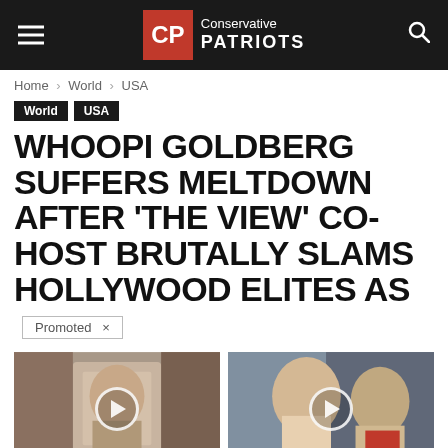CP Conservative PATRIOTS
Home > World > USA
World
USA
WHOOPI GOLDBERG SUFFERS MELTDOWN AFTER ‘THE VIEW’ CO-HOST BRUTALLY SLAMS HOLLYWOOD ELITES AS
Promoted X
[Figure (photo): Man raising hands near face, video thumbnail with play button]
Easiest Morning Routine That Can Make Your Sagging Skin Snap Back
🔥 572
[Figure (photo): Woman and man at public event, video thumbnail with play button]
Democrats Want This Video Destroyed — Watch Now Before It's Banned
🔥 186,907